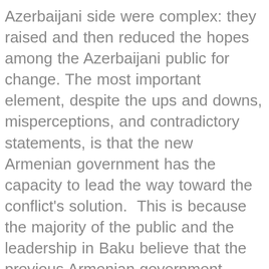Azerbaijani side were complex: they raised and then reduced the hopes among the Azerbaijani public for change. The most important element, despite the ups and downs, misperceptions, and contradictory statements, is that the new Armenian government has the capacity to lead the way toward the conflict's solution.  This is because the majority of the public and the leadership in Baku believe that the previous Armenian government benefited from the legacy of the Karabakh war, whereas the new leadership is more open and has officials who bring experience in peace building. There is an opportunity for building trust in order to move forward on conflict resolution. The two sides reached an impressive preliminary agreement on the ceasefire regime and